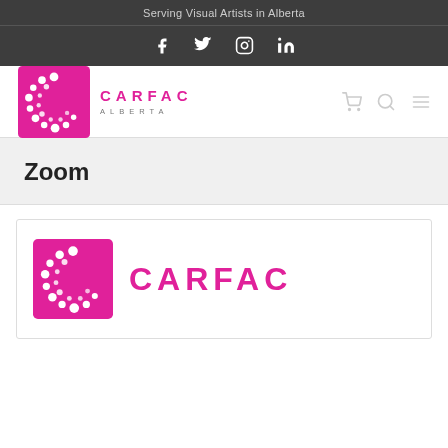Serving Visual Artists in Alberta
[Figure (logo): Social media icons: Facebook, Twitter, Instagram, LinkedIn on dark background]
[Figure (logo): CARFAC Alberta logo with pink square C icon and CARFAC ALBERTA wordmark]
Zoom
[Figure (logo): CARFAC Alberta product image showing pink square C logo and CARFAC wordmark in pink]